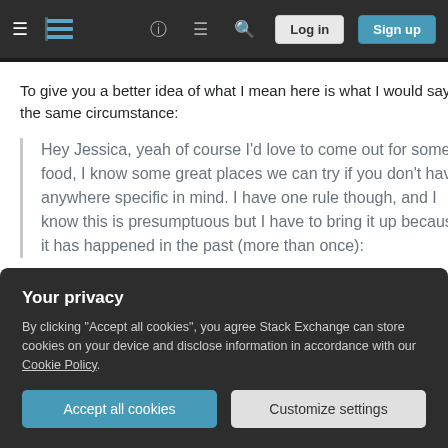Stack Exchange navigation bar with logo, help, chat, search, log in, sign up
To give you a better idea of what I mean here is what I would say in the same circumstance:
Hey Jessica, yeah of course I'd love to come out for some food, I know some great places we can try if you don't have anywhere specific in mind. I have one rule though, and I know this is presumptuous but I have to bring it up because it has happened in the past (more than once):
Your privacy
By clicking "Accept all cookies", you agree Stack Exchange can store cookies on your device and disclose information in accordance with our Cookie Policy.
probably gaze into each other's eyes once